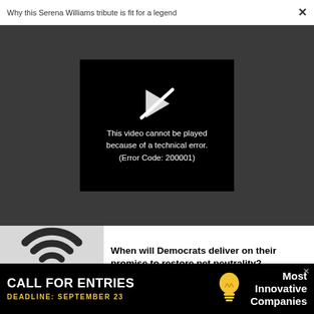Why this Serena Williams tribute is fit for a legend
[Figure (screenshot): Video player error screen on dark grey background. Black rectangle with a crossed-out play icon and text: This video cannot be played because of a technical error. (Error Code: 200001)]
[Figure (photo): WiFi symbol with a small circular router/puck below it, grayscale image]
When will Democrats deliver on their promise to restore net neutrality?
IDEAS
50 Reasons Why Everyone Should
[Figure (photo): Outdoor scene with people, green trees and buildings in background]
CALL FOR ENTRIES DEADLINE: SEPTEMBER 23 Most Innovative Companies